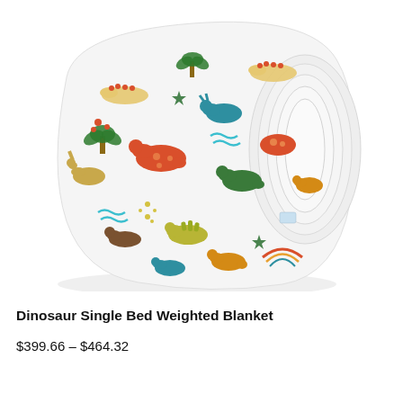[Figure (photo): A folded and rolled dinosaur-patterned blanket on a white background. The blanket features colorful cartoon dinosaurs in red, orange, teal, green, yellow, and brown, with palm trees, clouds, and decorative dots on a white fabric.]
Dinosaur Single Bed Weighted Blanket
$399.66 – $464.32